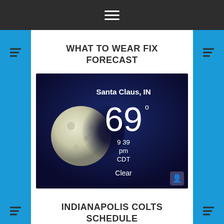Navigation menu bar
WHAT TO WEAR FIX FORECAST
[Figure (screenshot): Weather app screenshot showing Santa Claus, IN at 69 degrees, 9:39 pm CDT, Clear, with a moon phase image on a dark blue background]
INDIANAPOLIS COLTS SCHEDULE